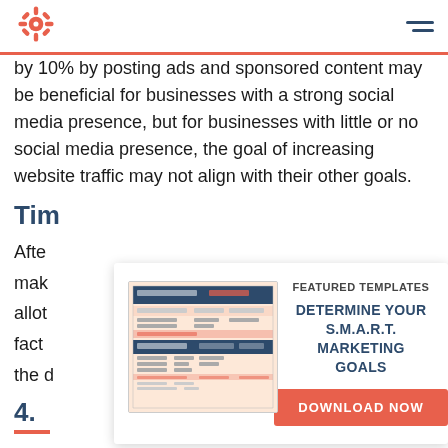HubSpot logo and navigation
by 10% by posting ads and sponsored content may be beneficial for businesses with a strong social media presence, but for businesses with little or no social media presence, the goal of increasing website traffic may not align with their other goals.
Tim
Afte
mak
allot
fact
the d
[Figure (screenshot): Featured Templates overlay card with a preview of a marketing goals template spreadsheet, text reading FEATURED TEMPLATES / DETERMINE YOUR S.M.A.R.T. MARKETING GOALS, and an orange DOWNLOAD NOW button]
4.